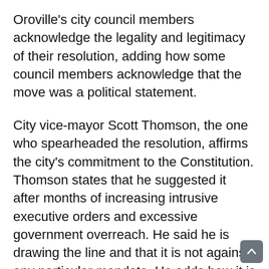Oroville's city council members acknowledge the legality and legitimacy of their resolution, adding how some council members acknowledge that the move was a political statement.
City vice-mayor Scott Thomson, the one who spearheaded the resolution, affirms the city's commitment to the Constitution. Thomson states that he suggested it after months of increasing intrusive executive orders and excessive government overreach. He said he is drawing the line and that it is not against any particular mandate. He adds how it is a torrent of mandates.
Councilman Art Hartley voted for the resolution and stated that the move was a political statement and that...